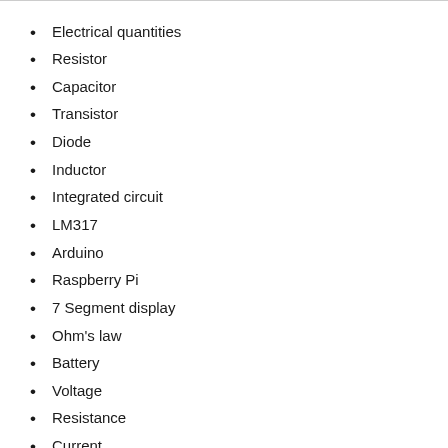Electrical quantities
Resistor
Capacitor
Transistor
Diode
Inductor
Integrated circuit
LM317
Arduino
Raspberry Pi
7 Segment display
Ohm's law
Battery
Voltage
Resistance
Current
Power
Electronic symbols
Logic gates
Operational amplifier
Electronic filter
Decibel (dBW)
Slew rate